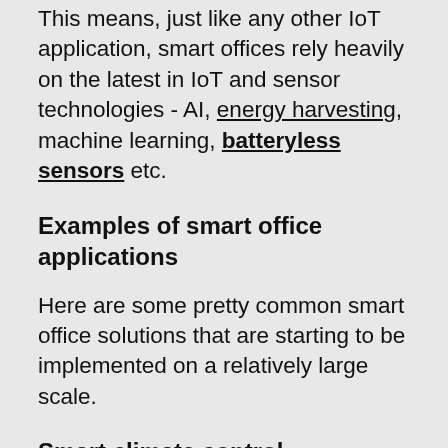This means, just like any other IoT application, smart offices rely heavily on the latest in IoT and sensor technologies - AI, energy harvesting, machine learning, batteryless sensors etc.
Examples of smart office applications
Here are some pretty common smart office solutions that are starting to be implemented on a relatively large scale.
Smart climate control
This is probably one of the most common technologies that is implemented in workplaces that can be considered an example of a smart office solution.
Smart thermostats were one of the earliest IoT solutions to be adopted by the